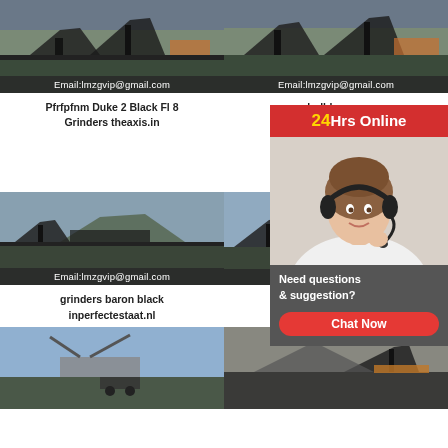[Figure (photo): Mining/crushing machinery at a quarry site with Email:lmzgvip@gmail.com overlay]
Pfrfpfnm Duke 2 Black Fl 8 Grinders theaxis.in
[Figure (photo): Mining/crushing machinery at a quarry site with Email:lmzgvip@gmail.com overlay]
bulldog w... edo...
[Figure (photo): Mining/crushing machinery with Email:lmzgvip@gmail.com overlay]
grinders baron black inperfectestaat.nl
[Figure (photo): Mining/crushing machinery with Email:lmzg... overlay]
bulldog w... grinders
[Figure (photo): Mining/crushing machinery at quarry - bottom left]
[Figure (photo): Mining/crushing machinery at quarry - bottom right]
[Figure (infographic): Chat widget overlay: 24Hrs Online badge in red, agent photo with headset, Need questions & suggestion? text, Chat Now red button]